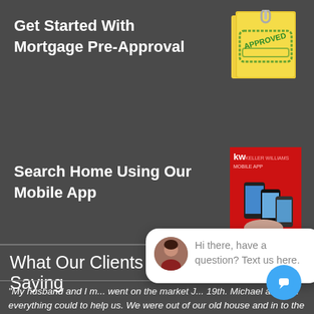Get Started With Mortgage Pre-Approval
[Figure (illustration): Yellow sticky note with a green APPROVED stamp on it, held by a paper clip]
Search Home Using Our Mobile App
[Figure (screenshot): KW Keller Williams mobile app promotional image showing smartphones with the app interface displayed, on a red background]
What Our Clients Are Saying
"My husband and I m... went on the market J... 19th. Michael and his... everything could to help us. We were out of our old house and in to the new one within a month of our house going under contr... would highly recommend using the J. Michael Manley team... buying and/or selling. They made the hassle or buying and selling so
[Figure (illustration): Chat popup overlay with avatar photo of a woman, text reading: Hi there, have a question? Text us here. With a close button and a blue chat bubble button.]